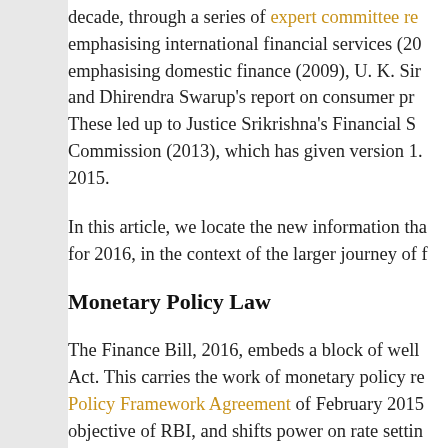decade, through a series of expert committee re emphasising international financial services (20 emphasising domestic finance (2009), U. K. Sir and Dhirendra Swarup's report on consumer pr These led up to Justice Srikrishna's Financial S Commission (2013), which has given version 1. 2015.
In this article, we locate the new information tha for 2016, in the context of the larger journey of f
Monetary Policy Law
The Finance Bill, 2016, embeds a block of well Act. This carries the work of monetary policy re Policy Framework Agreement of February 2015 objective of RBI, and shifts power on rate settin governor to a `Monetary Policy Committee'.